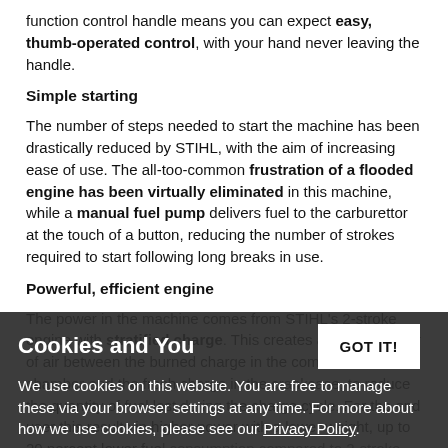function control handle means you can expect easy, thumb-operated control, with your hand never leaving the handle.
Simple starting
The number of steps needed to start the machine has been drastically reduced by STIHL, with the aim of increasing ease of use. The all-too-common frustration of a flooded engine has been virtually eliminated in this machine, while a manual fuel pump delivers fuel to the carburettor at the touch of a button, reducing the number of strokes required to start following long breaks in use.
Powerful, efficient engine
The power in the machine comes from STIHL's 2-stroke engine with stratified charge. This creates a fuel-free layer of air between the burned charge in the combustion chamber and the fresh charge in the crankcase, to reduce the quantity of fuel lost during the charge cycle. For the end user this results in higher power with a lower weight, up to 20 percent lower fuel consumption compared to 2-stroke machines and vastly reduced exhaust emissions.
Cookies and You
We use cookies on this website. You are free to manage these via your browser settings at any time. For more about how we use cookies, please see our Privacy Policy.